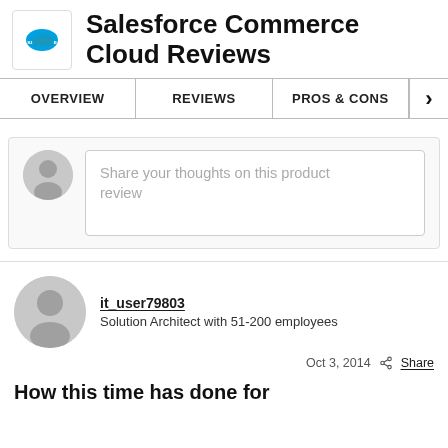Salesforce Commerce Cloud Reviews
OVERVIEW | REVIEWS | PROS & CONS
Share your thoughts on this product review
it_user79803
Solution Architect with 51-200 employees
Oct 3, 2014  Share
How this time has done for